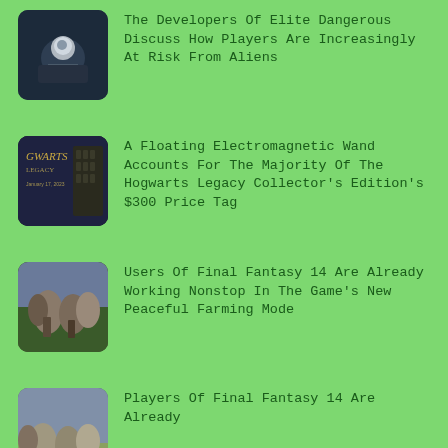The Developers Of Elite Dangerous Discuss How Players Are Increasingly At Risk From Aliens
A Floating Electromagnetic Wand Accounts For The Majority Of The Hogwarts Legacy Collector's Edition's $300 Price Tag
Users Of Final Fantasy 14 Are Already Working Nonstop In The Game's New Peaceful Farming Mode
Players Of Final Fantasy 14 Are Already